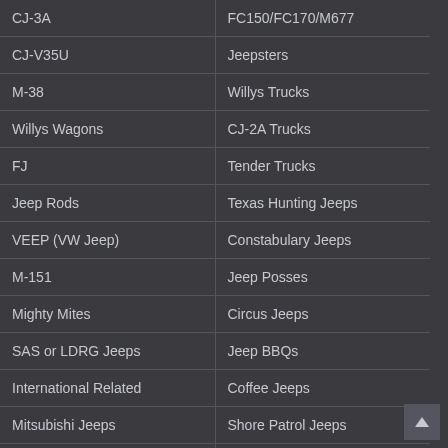| CJ-3A | FC150/FC170/M677 |
| CJ-V35U | Jeepsters |
| M-38 | Willys Trucks |
| Willys Wagons | CJ-2A Trucks |
| FJ | Tender Trucks |
| Jeep Rods | Texas Hunting Jeeps |
| VEEP (VW Jeep) | Constabulary Jeeps |
| M-151 | Jeep Posses |
| Mighty Mites | Circus Jeeps |
| SAS or LDRG Jeeps | Jeep BBQs |
| International Related | Coffee Jeeps |
| Mitsubishi Jeeps | Shore Patrol Jeeps |
| Italian Jeeps | Border Patrol Jeeps |
| Nissan Jeeps | Sedan Jeeps |
| CJ-4/CJ-4A | Electric Jeeps |
| Follow Me Jeeps |  |